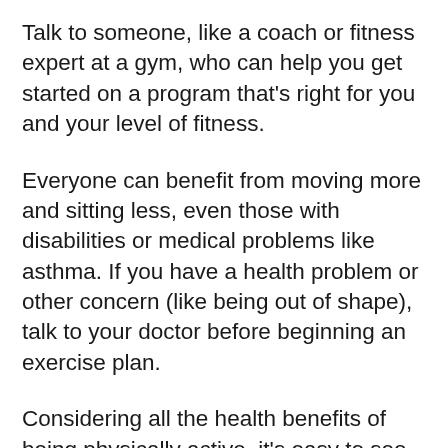Talk to someone, like a coach or fitness expert at a gym, who can help you get started on a program that's right for you and your level of fitness.
Everyone can benefit from moving more and sitting less, even those with disabilities or medical problems like asthma. If you have a health problem or other concern (like being out of shape), talk to your doctor before beginning an exercise plan.
Considering all the health benefits of being physically active, it's easy to see why exercise is wise. And the great thing about exercise is that it's never too late to start. Even small things can count as exercise — like taking a short bike ride, walking the dog, or raking leaves. If you are new to exercise, start with a few minutes a day and slowly build to the recommended amount of at least 60 minutes...